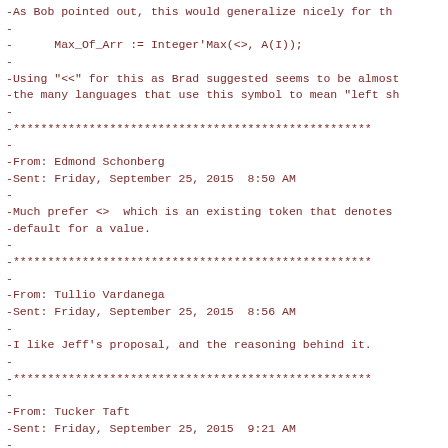-As Bob pointed out, this would generalize nicely for th
-
-      Max_Of_Arr := Integer'Max(<>, A(I));
-
-Using "<<" for this as Brad suggested seems to be almost
-the many languages that use this symbol to mean "left sh
-
-****************************************************
-
-From: Edmond Schonberg
-Sent: Friday, September 25, 2015  8:50 AM
-
-Much prefer <>  which is an existing token that denotes
-default for a value.
-
-****************************************************
-
-From: Tullio Vardanega
-Sent: Friday, September 25, 2015  8:56 AM
-
-I like Jeff's proposal, and the reasoning behind it.
-
-****************************************************
-
-From: Tucker Taft
-Sent: Friday, September 25, 2015  9:21 AM
-
-I can re-do the AI to use "<>" if that would be useful.
-
-****************************************************